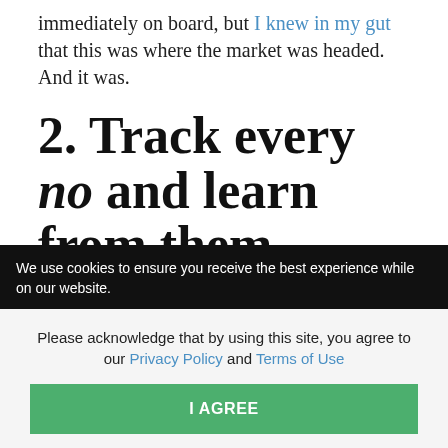immediately on board, but I knew in my gut that this was where the market was headed. And it was.
2. Track every no and learn from them.
No doesn't necessarily mean never. Often it's more of a not right now. Every sale or approval can be a struggle. In fact, 80 percent of prospects decline an offer four times before agreeing to a proposal; persistence pays off.
We use cookies to ensure you receive the best experience while on our website.
Please acknowledge that by using this site, you agree to our Privacy Policy and Terms of Use
I AGREE